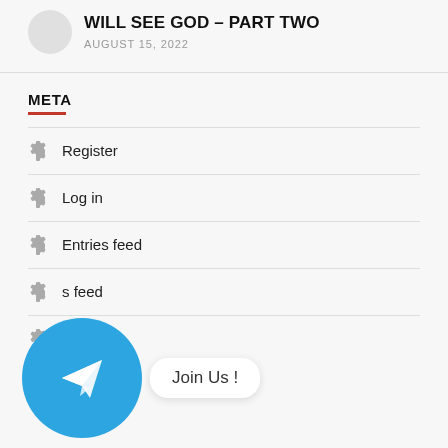WILL SEE GOD – PART TWO
AUGUST 15, 2022
META
Register
Log in
Entries feed
s feed
[Figure (illustration): Telegram messenger logo — blue circle with white paper plane icon, with 'Join Us!' speech bubble tooltip]
.org